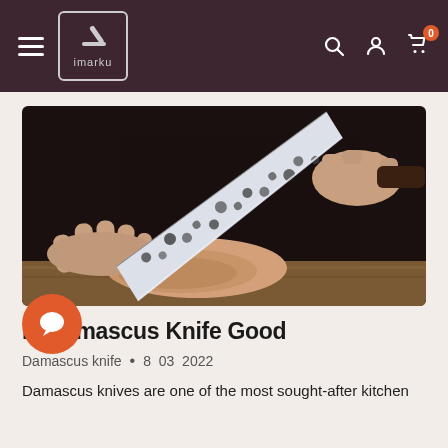imarku — navigation header with logo, hamburger menu, search, account, and cart icons
[Figure (photo): Hands holding a Damascus knife with hammered blade pattern, slicing meat on a wooden board against a dark background]
Is Damascus Knife Good
Damascus knife   •   8   03   2022
Damascus knives are one of the most sought-after kitchen